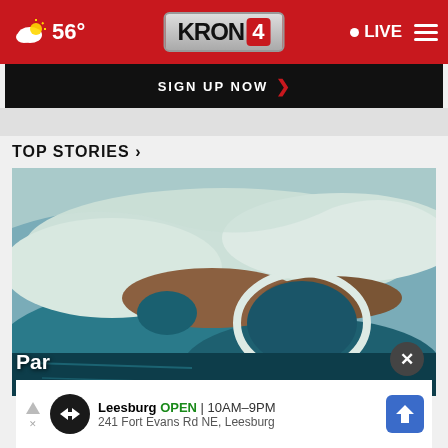KRON 4 — 56° LIVE
[Figure (screenshot): KRON4 news website navigation bar with weather (56°), KRON4 logo, LIVE button, and hamburger menu on red background]
SIGN UP NOW ›
TOP STORIES ›
[Figure (photo): Aerial photograph of a geothermal hot spring or geologically active pool with teal blue water, white mineral deposits, and brown terrain]
Par...
[Figure (screenshot): Advertisement overlay showing Leesburg business: OPEN 10AM–9PM, 241 Fort Evans Rd NE, Leesburg]